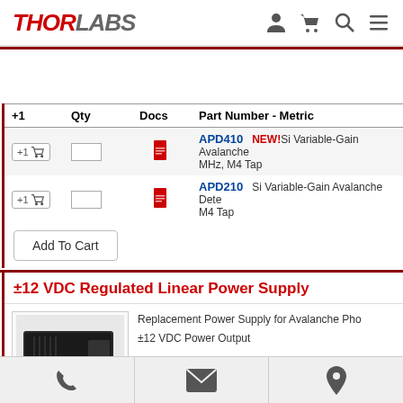THORLABS
| +1 | Qty | Docs | Part Number - Metric | Description |
| --- | --- | --- | --- | --- |
| +1 |  | doc | APD410 | NEW! Si Variable-Gain Avalanche Detector, ... MHz, M4 Tap |
| +1 |  | doc | APD210 | Si Variable-Gain Avalanche Detector, ... M4 Tap |
±12 VDC Regulated Linear Power Supply
[Figure (photo): Photo of a power supply unit, black rectangular device]
Replacement Power Supply for Avalanche Photodetectors
±12 VDC Power Output
Phone | Email | Location icons